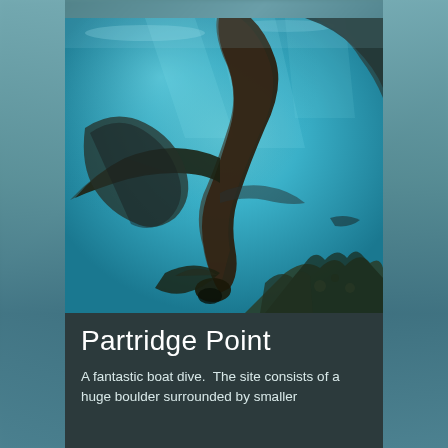[Figure (photo): Underwater photograph of sea lions or seals swimming in clear turquoise-blue water, with dark silhouettes of the animals visible against the bright water, some coral or reef visible at the bottom right]
Partridge Point
A fantastic boat dive.  The site consists of a huge boulder surrounded by smaller boulders with a good variety of beautiful...